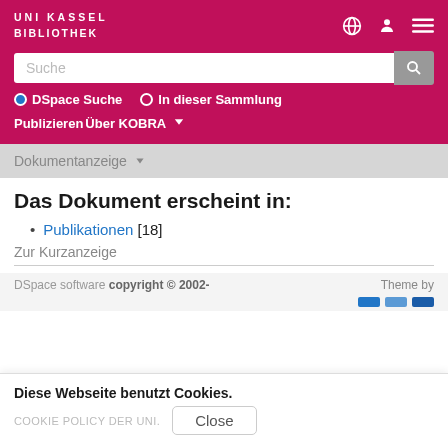UNI KASSEL BIBLIOTHEK
Suche
DSpace Suche   In dieser Sammlung
Publizieren  Über KOBRA
Dokumentanzeige
Das Dokument erscheint in:
Publikationen [18]
Zur Kurzanzeige
DSpace software copyright © 2002-   Theme by
Diese Webseite benutzt Cookies.
COOKIE POLICY DER UNI.   Close